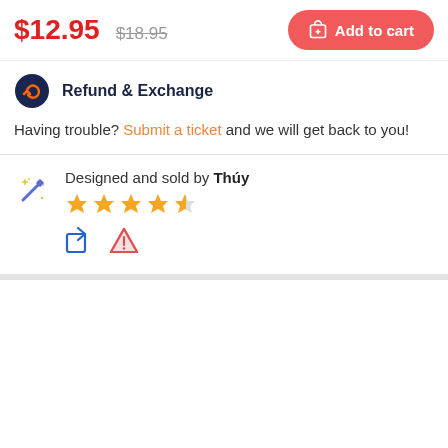$12.95  $18.95  Add to cart
Refund & Exchange
Having trouble? Submit a ticket and we will get back to you!
Designed and sold by Thúy
[Figure (other): 4 and a half star rating with yellow stars]
[Figure (other): Share icon (blue) and warning/report icon (red triangle)]